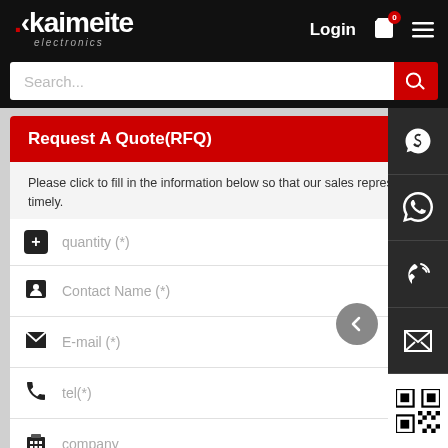[Figure (screenshot): Kaimeite electronics website header with logo, Login, cart, and hamburger menu on black background]
[Figure (screenshot): Search bar with red search button]
Request A Quote(RFQ)
Please click to fill in the information below so that our sales representatives can provide you with better price and our inventory of quality parts timely.
quantity (*)
Contact Name (*)
E-mail (*)
tel(*)
company
remark